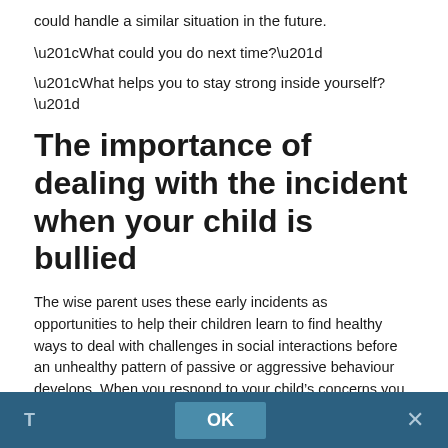could handle a similar situation in the future.
“What could you do next time?”
“What helps you to stay strong inside yourself?”
The importance of dealing with the incident when your child is bullied
The wise parent uses these early incidents as opportunities to help their children learn to find healthy ways to deal with challenges in social interactions before an unhealthy pattern of passive or aggressive behaviour develops. When you respond to your child’s concerns you give a message, “You matter!” – a hugely important message if your child is feeling like they don’t matter to their peers.
Knowing how to respond helpfully when your child is bullied can help your child develop assertive behaviour that can shield them in a healthy way. This matters for your child’s happiness and self-esteem not only now in the immediate situation you’re facing – but